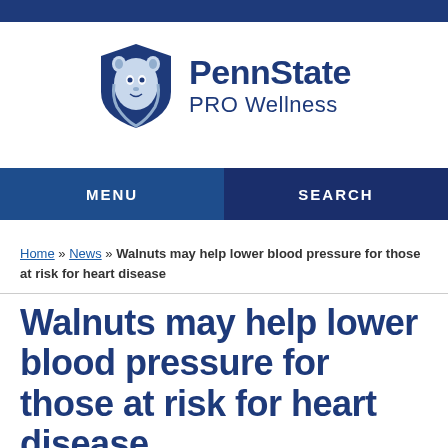[Figure (logo): Penn State PRO Wellness logo with lion shield emblem and text]
MENU   SEARCH
Home » News » Walnuts may help lower blood pressure for those at risk for heart disease
Walnuts may help lower blood pressure for those at risk for heart disease